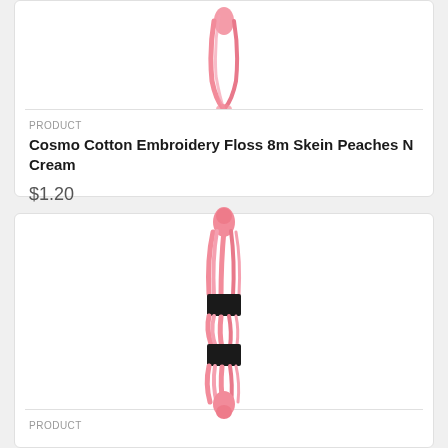[Figure (photo): Partial view of a pink embroidery floss skein against white background, showing the bottom portion of the skein]
PRODUCT
Cosmo Cotton Embroidery Floss 8m Skein Peaches N Cream
$1.20
[Figure (photo): Pink embroidery floss skein with black label band in the middle, showing full skein with twisted pink threads and knotted ends]
PRODUCT